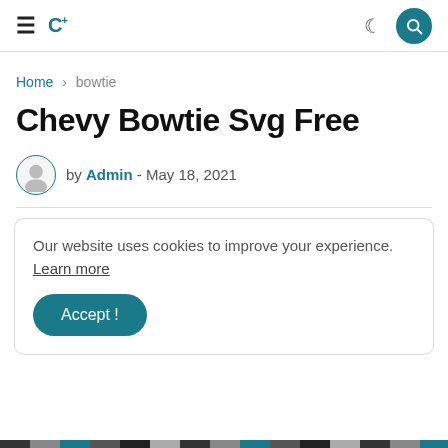≡ C+ [logo]  🌙 [search button]
Home › bowtie
Chevy Bowtie Svg Free
by Admin - May 18, 2021
Our website uses cookies to improve your experience. Learn more
Accept !